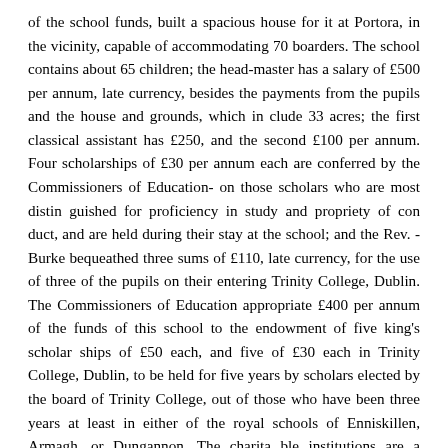of the school funds, built a spacious house for it at Portora, in the vicinity, capable of accommodating 70 boarders. The school contains about 65 children; the head-master has a salary of £500 per annum, late currency, besides the payments from the pupils and the house and grounds, which in clude 33 acres; the first classical assistant has £250, and the second £100 per annum. Four scholarships of £30 per annum each are conferred by the Commissioners of Education- on those scholars who are most distin guished for proficiency in study and propriety of con duct, and are held during their stay at the school; and the Rev. - Burke bequeathed three sums of £110, late currency, for the use of three of the pupils on their entering Trinity College, Dublin. The Commissioners of Education appropriate £400 per annum of the funds of this school to the endowment of five king's scholar ships of £50 each, and five of £30 each in Trinity College, Dublin, to be held for five years by scholars elected by the board of Trinity College, out of those who have been three years at least in either of the royal schools of Enniskillen, Armagh, or Dungannon. The charita ble institutions are a mendicity society, a dispensary, and a county infirmary, which is a large building on an eminence outside the town, on the Dublin road. Ennis killen is the birthplace of Lord Plunket, and gives the titles of Earl and Viscount to the family of Cole, by which it was founded.